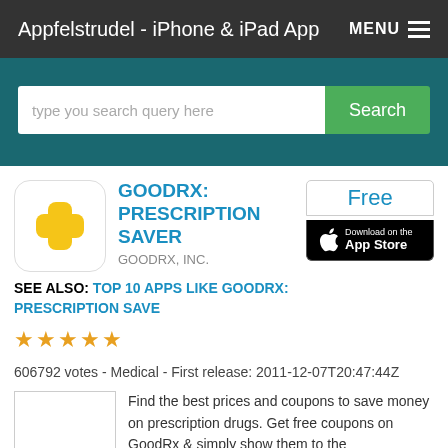Appfelstrudel - iPhone & iPad App
[Figure (screenshot): Search bar with teal background, text input and green Search button]
[Figure (logo): GoodRx app icon - yellow plus sign on white rounded square background]
GOODRX: PRESCRIPTION SAVER
GOODRX, INC.
[Figure (logo): App Store download button - black with Apple logo]
Free
SEE ALSO: TOP 10 APPS LIKE GOODRX: PRESCRIPTION SAVE
★★★★★  606792 votes - Medical - First release: 2011-12-07T20:47:44Z
Find the best prices and coupons to save money on prescription drugs. Get free coupons on GoodRx & simply show them to the pharmacist to save money off...